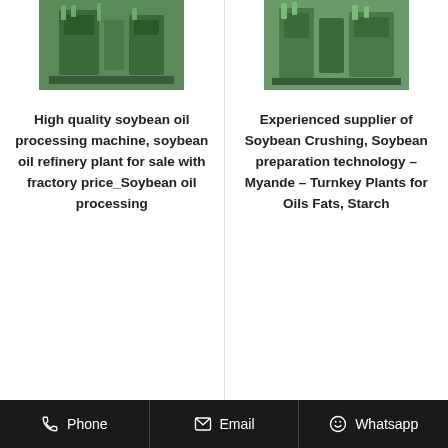[Figure (photo): Green industrial soybean oil processing machine equipment, left column top]
[Figure (photo): Green industrial soybean oil processing machine equipment, right column top]
High quality soybean oil processing machine, soybean oil refinery plant for sale with fractory price_Soybean oil processing
Experienced supplier of Soybean Crushing, Soybean preparation technology – Myande – Turnkey Plants for Oils Fats, Starch
Phone   Email   Whatsapp